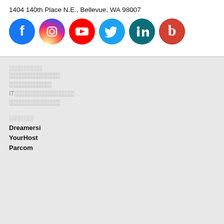1404 140th Place N.E., Bellevue, WA 98007
[Figure (infographic): Row of 6 social media icons: Facebook (blue circle with f), Instagram (gradient circle with camera icon), YouTube (red circle with play button), Twitter (light blue circle with bird), LinkedIn (dark teal circle with 'in'), Blogger (red circle with 'b')]
░░░░░░░░ (redacted navigation group header)
░░░░░░░░░░░░
░░░░░░░░░░
IT░░░░░░░░░░░░░░
░░░░░░░░░░░░
░░░░░░ (redacted section header)
Dreamersi
YourHost
Parcom